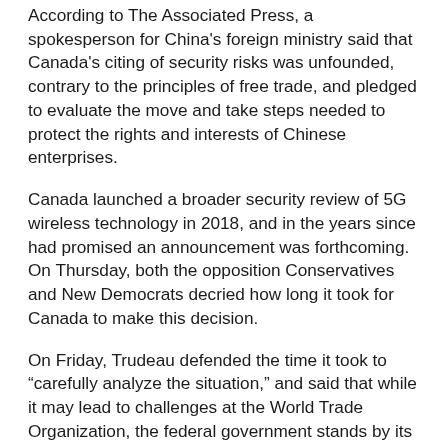According to The Associated Press, a spokesperson for China's foreign ministry said that Canada's citing of security risks was unfounded, contrary to the principles of free trade, and pledged to evaluate the move and take steps needed to protect the rights and interests of Chinese enterprises.
Canada launched a broader security review of 5G wireless technology in 2018, and in the years since had promised an announcement was forthcoming. On Thursday, both the opposition Conservatives and New Democrats decried how long it took for Canada to make this decision.
On Friday, Trudeau defended the time it took to “carefully analyze the situation,” and said that while it may lead to challenges at the World Trade Organization, the federal government stands by its decision.
He also indicated that the federal government will be